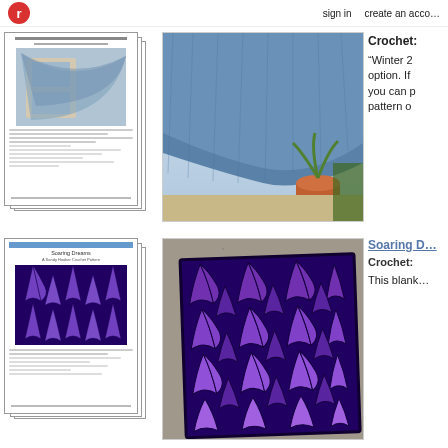sign in   create an account
[Figure (photo): Thumbnail of a crochet pattern document pages stacked, showing a blue textured shawl draped over a window]
[Figure (photo): Large photo of a blue textured crochet shawl draped over window/railing with plants in background]
Crochet:
“Winter 2… option. If you can p… pattern o…
[Figure (photo): Thumbnail of a crochet pattern document pages stacked, showing a purple geometric leaf/fan pattern blanket titled Soaring Dreams]
[Figure (photo): Large photo of a purple and dark navy crochet blanket with geometric fan/leaf pattern laid on pavement]
Soaring D…
Crochet:
This blank…